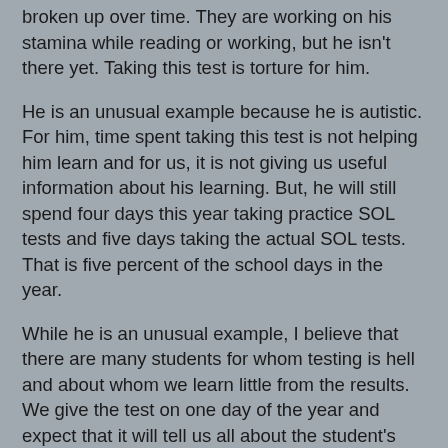broken up over time. They are working on his stamina while reading or working, but he isn't there yet. Taking this test is torture for him.
He is an unusual example because he is autistic. For him, time spent taking this test is not helping him learn and for us, it is not giving us useful information about his learning. But, he will still spend four days this year taking practice SOL tests and five days taking the actual SOL tests. That is five percent of the school days in the year.
While he is an unusual example, I believe that there are many students for whom testing is hell and about whom we learn little from the results. We give the test on one day of the year and expect that it will tell us all about the student's abilities and achievement. Many students, even in third grade, have test anxiety, which also impacts the results.
I'm not against accountability. I'm happy to open my classroom to anyone who wants to come in and see what is happening. I'm happy to show the various ways my students can and have demonstrated their learning. I have nothing to